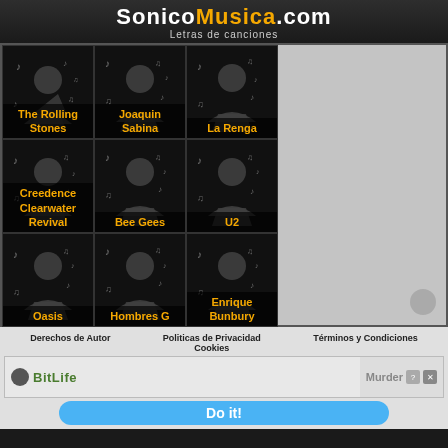SonicoMusica.com - Letras de canciones
[Figure (other): Grid of 9 music artist tiles with dark background showing silhouette icons and musical notes. Artists: The Rolling Stones, Joaquin Sabina, La Renga, Creedence Clearwater Revival, Bee Gees, U2, Oasis, Hombres G, Enrique Bunbury]
Derechos de Autor   Politicas de Privacidad Cookies   Términos y Condiciones